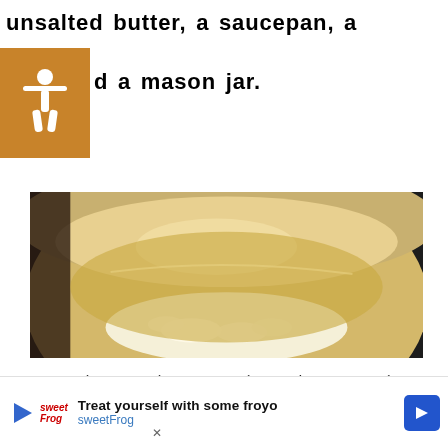unsalted butter, a saucepan, a spoon, and a mason jar.
[Figure (photo): Close-up photo of melted butter in a shiny metal saucepan, viewed from above, with white foam/solids visible at the bottom of the pan.]
We use cookies on our website to give you the most relevant experience by remembering your preferences and repeat visits. By clicking “Accept”, you consent to the use of ALL the cookies.
Do not sell my personal information.
[Figure (infographic): Advertisement banner for sweetFrog frozen yogurt: 'Treat yourself with some froyo' with sweetFrog logo and a blue diamond arrow button.]